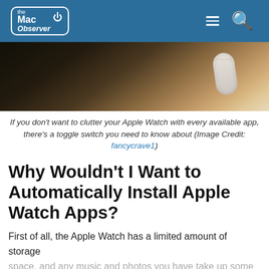the Mac Observer
[Figure (photo): Close-up photo of a wrist wearing an Apple Watch with a light-colored band, against a dark background]
If you don’t want to clutter your Apple Watch with every available app, there’s a toggle switch you need to know about (Image Credit: fancycrave1)
Why Wouldn’t I Want to Automatically Install Apple Watch Apps?
First of all, the Apple Watch has a limited amount of storage space, and any music and photos you have take up some of it. For that reason, you might want to limit how many apps